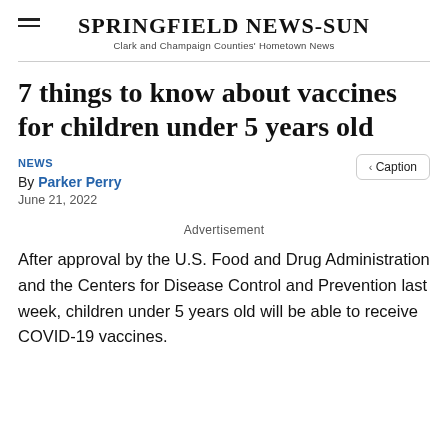SPRINGFIELD NEWS-SUN
Clark and Champaign Counties' Hometown News
7 things to know about vaccines for children under 5 years old
NEWS
By Parker Perry
June 21, 2022
Advertisement
After approval by the U.S. Food and Drug Administration and the Centers for Disease Control and Prevention last week, children under 5 years old will be able to receive COVID-19 vaccines.